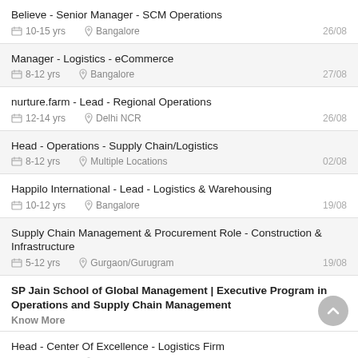Believe - Senior Manager - SCM Operations
📅 10-15 yrs  📍 Bangalore  26/08
Manager - Logistics - eCommerce
📅 8-12 yrs  📍 Bangalore  27/08
nurture.farm - Lead - Regional Operations
📅 12-14 yrs  📍 Delhi NCR  26/08
Head - Operations - Supply Chain/Logistics
📅 8-12 yrs  📍 Multiple Locations  02/08
Happilo International - Lead - Logistics & Warehousing
📅 10-12 yrs  📍 Bangalore  19/08
Supply Chain Management & Procurement Role - Construction & Infrastructure
📅 5-12 yrs  📍 Gurgaon/Gurugram  19/08
SP Jain School of Global Management | Executive Program in Operations and Supply Chain Management
Know More
Head - Center Of Excellence - Logistics Firm
📅 10-14 yrs  📍 Mumbai  12/08